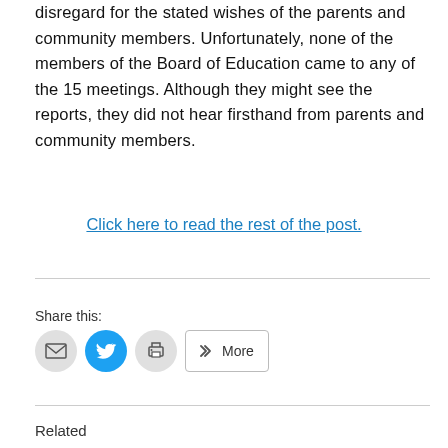disregard for the stated wishes of the parents and community members. Unfortunately, none of the members of the Board of Education came to any of the 15 meetings. Although they might see the reports, they did not hear firsthand from parents and community members.
Click here to read the rest of the post.
Share this:
Related